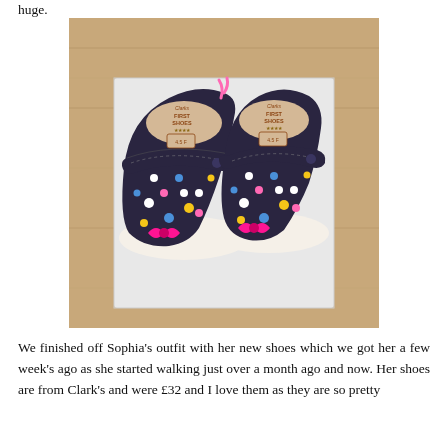huge.
[Figure (photo): A pair of Clarks First Shoes children's Mary Jane shoes with dark navy polka dot pattern (multicolored dots: white, blue, yellow, pink) and bright pink bow decoration on the toe. The shoes have velcro ankle straps and are displayed on a white box on a wooden surface. The insole is visible on both shoes showing 'Clarks FIRST SHOES' branding with four stars.]
We finished off Sophia's outfit with her new shoes which we got her a few week's ago as she started walking just over a month ago and now. Her shoes are from Clark's and were £32 and I love them as they are so pretty